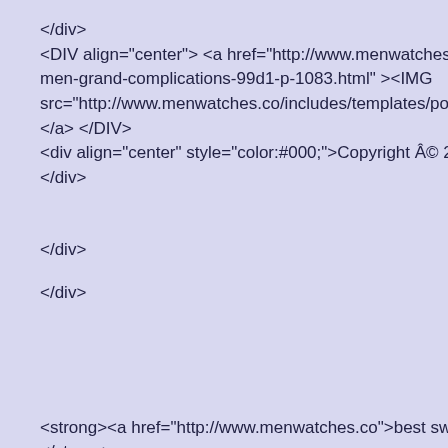</div>
<DIV align="center"> <a href="http://www.menwatches.co/507men-grand-complications-99d1-p-1083.html" ><IMG src="http://www.menwatches.co/includes/templates/polo/image</a> </DIV>
<div align="center" style="color:#000;">Copyright © 2015 A</div>
</div>
</div>
<strong><a href="http://www.menwatches.co">best swiss repli</strong>
<br>
<strong><a href="http://www.menwatches.co">best replica wat</strong>
<br>